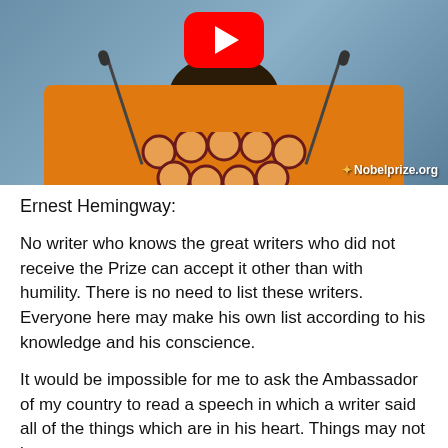[Figure (photo): A person wearing an orange garment with a large circular necklace, speaking at a podium with two microphones. A red YouTube play button overlay appears at the top. A 'Nobelprize.org' watermark is visible at the bottom right of the image.]
Ernest Hemingway:
No writer who knows the great writers who did not receive the Prize can accept it other than with humility. There is no need to list these writers. Everyone here may make his own list according to his knowledge and his conscience.
It would be impossible for me to ask the Ambassador of my country to read a speech in which a writer said all of the things which are in his heart. Things may not be